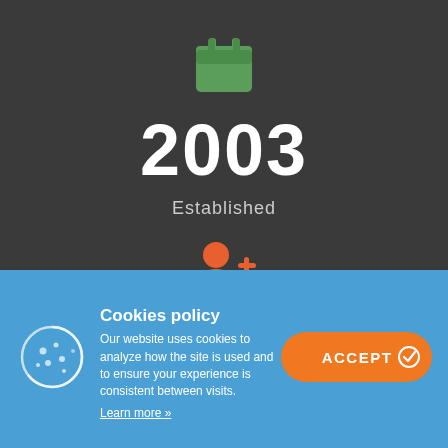[Figure (illustration): Green calendar icon]
2003
Established
[Figure (illustration): Orange add-user icon]
Cookies policy
Our website uses cookies to analyze how the site is used and to ensure your experience is consistent between visits.
Learn more »
[Figure (illustration): Cookie icon]
[Figure (illustration): ACCEPT button with checkmark]